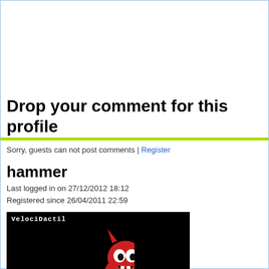Drop your comment for this profile
Sorry, guests can not post comments | Register
hammer
Last logged in on 27/12/2012 18:12
Registered since 26/04/2011 22:59
[Figure (illustration): Profile image showing a red cartoon devil character holding a hammer/mug, on black background, with watermark text 'VelociDactil']